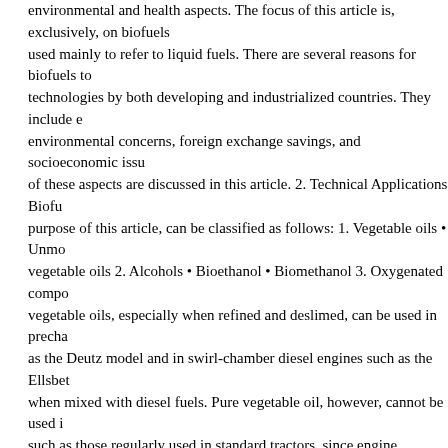environmental and health aspects. The focus of this article is, exclusively, on biofuels used mainly to refer to liquid fuels. There are several reasons for biofuels to be seen as technologies by both developing and industrialized countries. They include energy security, environmental concerns, foreign exchange savings, and socioeconomic issues. Most all of these aspects are discussed in this article. 2. Technical Applications Biofuels, for the purpose of this article, can be classified as follows: 1. Vegetable oils • Unmodified vegetable oils 2. Alcohols • Bioethanol • Biomethanol 3. Oxygenated compounds Unmodified vegetable oils, especially when refined and deslimed, can be used in prechamber engines as the Deutz model and in swirl-chamber diesel engines such as the Ellsbett model and when mixed with diesel fuels. Pure vegetable oil, however, cannot be used in direct-injection such as those regularly used in standard tractors, since engine cooking occurs. Some engine types allow additions of vegetable oils mixed with fuels in reduced amounts. Cooking and cooking negatively affect short-term engine performance. Some vegetable oils serve as lubricants and as hydraulic oils. In addition, they can be used in saw machines. It is possible to substitute mineral oils for vegetable oils provided that appropriate additives are used. SUSTAINABLE TECHNOLOGIES Vegetable oil can be obtained from more than 350 plants. Oil is contained mainly in fruits and seeds, yet still other origins exist. The highest yields come from tree crops, such as palms, coconuts, and olives, but there are a number of factors, like climate and soil conditions, oil content, yields and the feasibility of farm operations, which limit the vegetable oils to a reduced number of crops. Apart from the previously mentioned forms, oils can also be used in the esterificated form. Diesel engines malfunction if